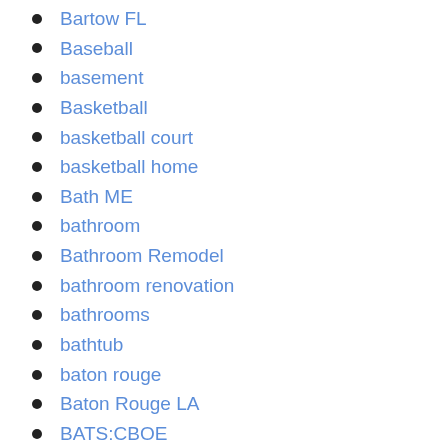Bartow FL
Baseball
basement
Basketball
basketball court
basketball home
Bath ME
bathroom
Bathroom Remodel
bathroom renovation
bathrooms
bathtub
baton rouge
Baton Rouge LA
BATS:CBOE
Battle Creek MI
bauhaus
Bay Area
Bay Area real estate